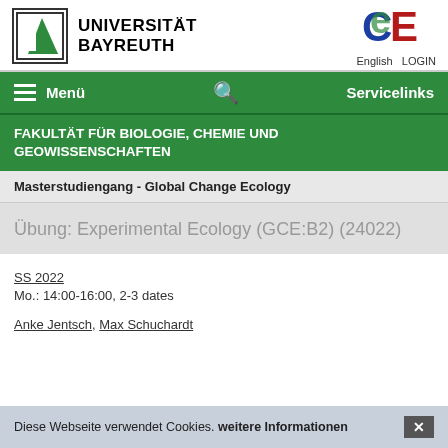[Figure (logo): Universität Bayreuth logo with green diagonal stripe in a box, and the text UNIVERSITÄT BAYREUTH beside it]
[Figure (logo): CE logo in blue and red colors, with English and LOGIN links below]
Menü  Servicelinks
FAKULTÄT FÜR BIOLOGIE, CHEMIE UND GEOWISSENSCHAFTEN
Masterstudiengang - Global Change Ecology
Übung: Experimental Ecology (GCE:B2) (24022)
SS 2022
Mo.: 14:00-16:00, 2-3 dates

Anke Jentsch, Max Schuchardt
Diese Webseite verwendet Cookies. weitere Informationen